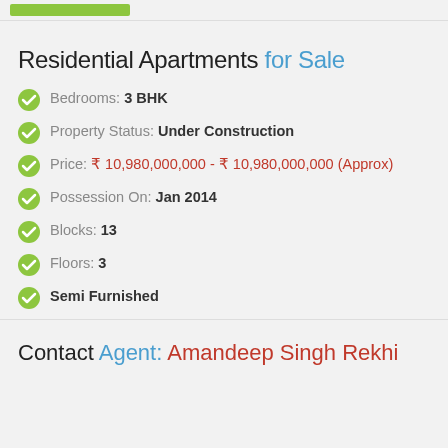Residential Apartments for Sale
Bedrooms: 3 BHK
Property Status: Under Construction
Price: ₹ 10,980,000,000 - ₹ 10,980,000,000 (Approx)
Possession On: Jan 2014
Blocks: 13
Floors: 3
Semi Furnished
Contact Agent: Amandeep Singh Rekhi